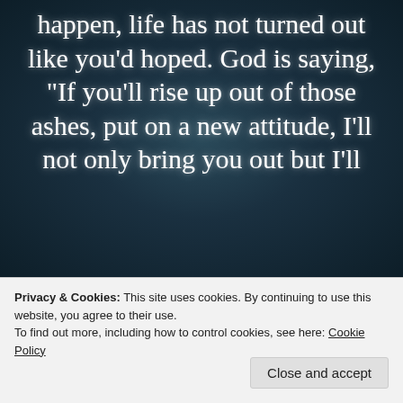[Figure (photo): Dark teal/slate textured background with white serif text overlaid: 'happen, life has not turned out like you'd hoped. God is saying, "If you'll rise up out of those ashes, put on a new attitude, I'll not only bring you out but I'll']
Privacy & Cookies: This site uses cookies. By continuing to use this website, you agree to their use.
To find out more, including how to control cookies, see here: Cookie Policy
Close and accept